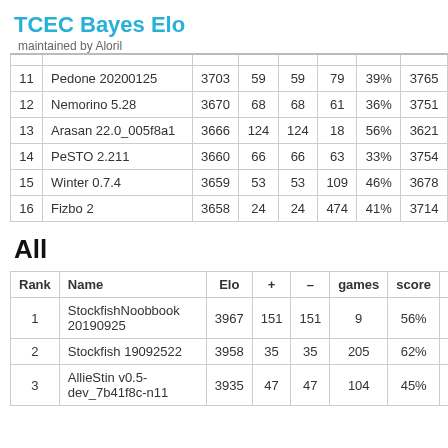TCEC Bayes Elo
maintained by Aloril
|  | Name | Elo | + | – | games | score | oppo. |
| --- | --- | --- | --- | --- | --- | --- | --- |
| 11 | Pedone 20200125 | 3703 | 59 | 59 | 79 | 39% | 3765 |
| 12 | Nemorino 5.28 | 3670 | 68 | 68 | 61 | 36% | 3751 |
| 13 | Arasan 22.0_005f8a1 | 3666 | 124 | 124 | 18 | 56% | 3621 |
| 14 | PeSTO 2.211 | 3660 | 66 | 66 | 63 | 33% | 3754 |
| 15 | Winter 0.7.4 | 3659 | 53 | 53 | 109 | 46% | 3678 |
| 16 | Fizbo 2 | 3658 | 24 | 24 | 474 | 41% | 3714 |
All
| Rank | Name | Elo | + | – | games | score | oppo. |
| --- | --- | --- | --- | --- | --- | --- | --- |
| 1 | StockfishNoobbook 20190925 | 3967 | 151 | 151 | 9 | 56% | 3948 |
| 2 | Stockfish 19092522 | 3958 | 35 | 35 | 205 | 62% | 3890 |
| 3 | AllieStin v0.5-dev_7b41f8c-n11 | 3935 | 47 | 47 | 104 | 45% | 3959 |